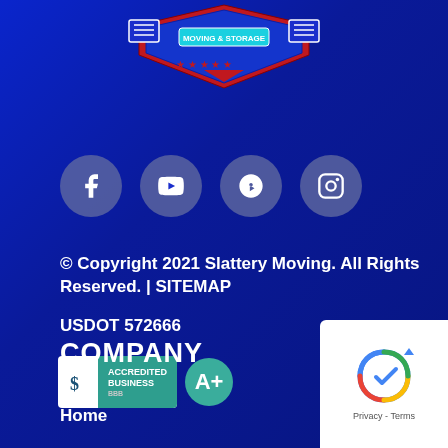[Figure (logo): Slattery Moving & Storage logo with red and blue shield, stars, and banner]
[Figure (infographic): Row of four social media icons: Facebook, YouTube, Yelp, Instagram — circular gray buttons]
© Copyright 2021 Slattery Moving. All Rights Reserved. | SITEMAP
USDOT 572666
[Figure (logo): BBB Accredited Business A+ badge]
COMPANY
Home
[Figure (logo): reCAPTCHA Privacy - Terms badge in bottom right corner]